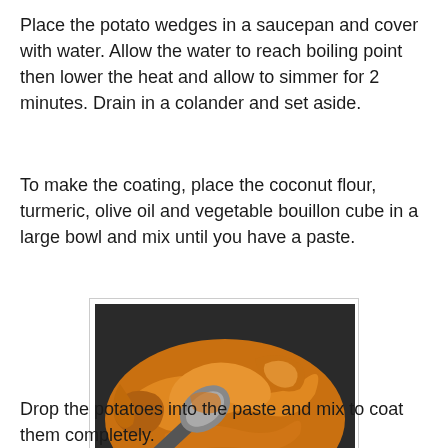Place the potato wedges in a saucepan and cover with water. Allow the water to reach boiling point then lower the heat and allow to simmer for 2 minutes. Drain in a colander and set aside.
To make the coating, place the coconut flour, turmeric, olive oil and vegetable bouillon cube in a large bowl and mix until you have a paste.
[Figure (photo): A photo of a golden-orange turmeric paste being mixed in a dark bowl with a metal spoon.]
Drop the potatoes into the paste and mix to coat them completely.